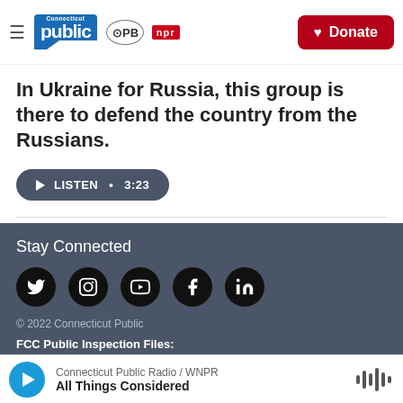Connecticut Public · PBS · NPR | Donate
In Ukraine for Russia, this group is there to defend the country from the Russians.
LISTEN • 3:23
Stay Connected
© 2022 Connecticut Public
FCC Public Inspection Files:
WEDH · WEDN · WEDW · WEDY · WNPR
Connecticut Public Radio / WNPR | All Things Considered